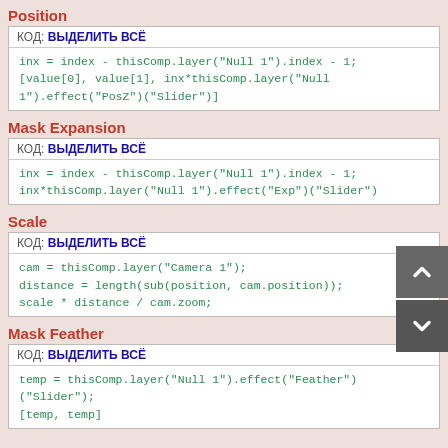Position
КОД: ВЫДЕЛИТЬ ВСЁ
inx = index - thisComp.layer("Null 1").index - 1;
[value[0], value[1], inx*thisComp.layer("Null 1").effect("PosZ")("Slider")]
Mask Expansion
КОД: ВЫДЕЛИТЬ ВСЁ
inx = index - thisComp.layer("Null 1").index - 1;
inx*thisComp.layer("Null 1").effect("Exp")("Slider")
Scale
КОД: ВЫДЕЛИТЬ ВСЁ
cam = thisComp.layer("Camera 1");
distance = length(sub(position, cam.position));
scale * distance / cam.zoom;
Mask Feather
КОД: ВЫДЕЛИТЬ ВСЁ
temp = thisComp.layer("Null 1").effect("Feather")("Slider");
[temp, temp]
[Figure (illustration): Blue folder with a download arrow icon]
You can download free project here for After Effects CC 2017